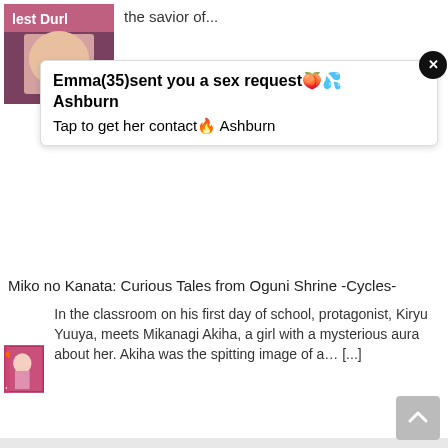[Figure (photo): Top section with thumbnail image and truncated text 'the savior of...']
[Figure (infographic): Ad overlay: Emma(35) sent you a sex request, Ashburn, Tap to get her contact, Ashburn]
Miko no Kanata: Curious Tales from Oguni Shrine -Cycles-
[Figure (illustration): Manga-style illustration for Miko no Kanata]
In the classroom on his first day of school, protagonist, Kiryu Yuuya, meets Mikanagi Akiha, a girl with a mysterious aura about her. Akiha was the spitting image of a… [...]
Hot And Lovely 5
[Figure (illustration): Anime-style illustration for Hot And Lovely 5]
A very interesting puzzle game. You need to remember different pictures by flipping the cards and find the same picture to eliminate. Players can view numbers by clicking on cards… [...]